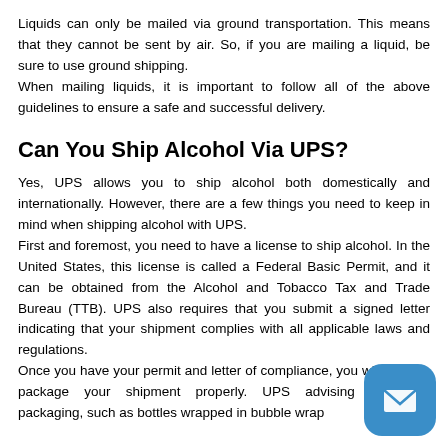Liquids can only be mailed via ground transportation. This means that they cannot be sent by air. So, if you are mailing a liquid, be sure to use ground shipping. When mailing liquids, it is important to follow all of the above guidelines to ensure a safe and successful delivery.
Can You Ship Alcohol Via UPS?
Yes, UPS allows you to ship alcohol both domestically and internationally. However, there are a few things you need to keep in mind when shipping alcohol with UPS. First and foremost, you need to have a license to ship alcohol. In the United States, this license is called a Federal Basic Permit, and it can be obtained from the Alcohol and Tobacco Tax and Trade Bureau (TTB). UPS also requires that you submit a signed letter indicating that your shipment complies with all applicable laws and regulations. Once you have your permit and letter of compliance, you will need to package your shipment properly. UPS advises using leak-proof packaging, such as bottles wrapped in bubble wrap